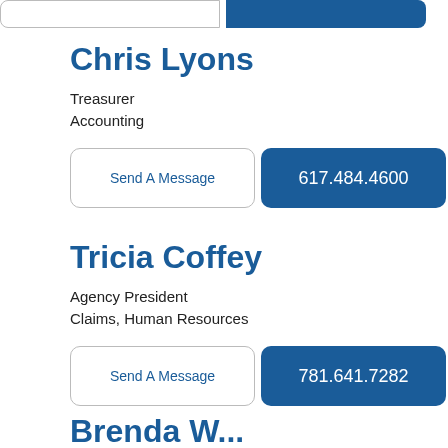Chris Lyons
Treasurer
Accounting
Send A Message
617.484.4600
Tricia Coffey
Agency President
Claims, Human Resources
Send A Message
781.641.7282
Brenda W...